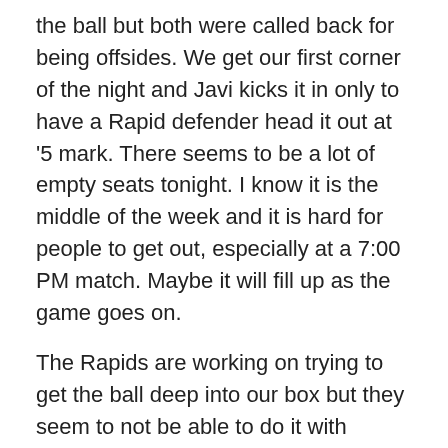the ball but both were called back for being offsides. We get our first corner of the night and Javi kicks it in only to have a Rapid defender head it out at '5 mark. There seems to be a lot of empty seats tonight. I know it is the middle of the week and it is hard for people to get out, especially at a 7:00 PM match. Maybe it will fill up as the game goes on.
The Rapids are working on trying to get the ball deep into our box but they seem to not be able to do it with consistency. Beautiful pass from Sabo to Javi only to have the Rapids defenders to man-handle Javi right outside the box. Javi is down right outside the box being checked out at '9 mark. He is up and trying to walk off, what seems to be a left ankle injury. Rapids are working hard to try and control the middle of the field but it is quite difficult with Kyle taking control of the